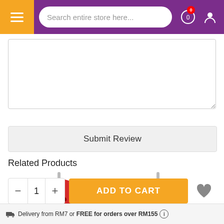[Figure (screenshot): Purple navigation header bar with orange hamburger menu on the left, search bar reading 'Search entire store here...', cart icon with red badge showing 0, and user profile icon]
[Figure (other): Empty text area input box for writing a review]
[Figure (other): Submit Review button, light gray rectangular button]
Related Products
[Figure (photo): Red children's sippy cup / bottle cap with straw, top-view]
[Figure (photo): Teal/cyan children's sippy cup / bottle cap with straw, top-view]
[Figure (other): Bottom action bar with quantity control (minus, 1, plus), orange ADD TO CART button, and gray heart icon]
Delivery from RM7 or FREE for orders over RM155